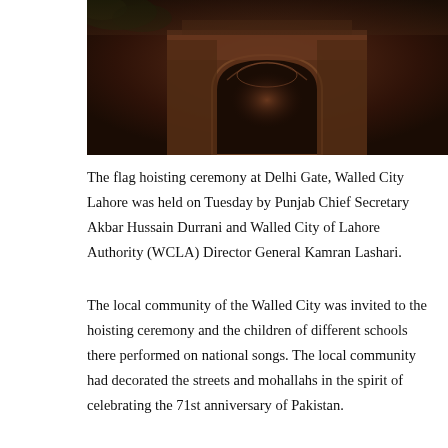[Figure (photo): Photograph of Delhi Gate, Walled City Lahore — a dark reddish-brown stone archway with ornate carved details, photographed from below against a dark sky with foliage visible at top left.]
The flag hoisting ceremony at Delhi Gate, Walled City Lahore was held on Tuesday by Punjab Chief Secretary Akbar Hussain Durrani and Walled City of Lahore Authority (WCLA) Director General Kamran Lashari.
The local community of the Walled City was invited to the hoisting ceremony and the children of different schools there performed on national songs. The local community had decorated the streets and mohallahs in the spirit of celebrating the 71st anniversary of Pakistan.